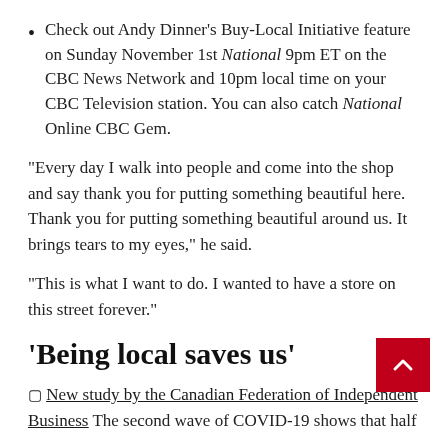Check out Andy Dinner's Buy-Local Initiative feature on Sunday November 1st National 9pm ET on the CBC News Network and 10pm local time on your CBC Television station. You can also catch National Online CBC Gem.
“Every day I walk into people and come into the shop and say thank you for putting something beautiful here. Thank you for putting something beautiful around us. It brings tears to my eyes,” he said.
“This is what I want to do. I wanted to have a store on this street forever.”
‘Being local saves us’
▢ New study by the Canadian Federation of Independent Business The second wave of COVID-19 shows that half